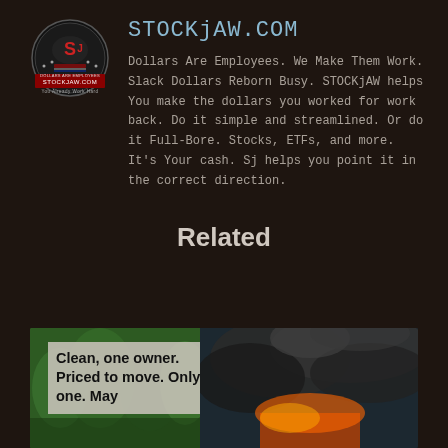[Figure (logo): STOCKjAW.COM circular logo with eagle and American flag design on dark background]
STOCKjAW.COM
Dollars Are Employees. We Make Them Work. Slack Dollars Reborn Busy. STOCKjAW helps You make the dollars you worked for work back. Do it simple and streamlined. Or do it Full-Bore. Stocks, ETFs, and more. It's Your cash. Sj helps you point it in the correct direction.
Related
[Figure (photo): Split image: left side shows green trees with an overlay sign reading 'Clean, one owner. Priced to move. Only one. May'; right side shows smoke and fire with dark dramatic sky]